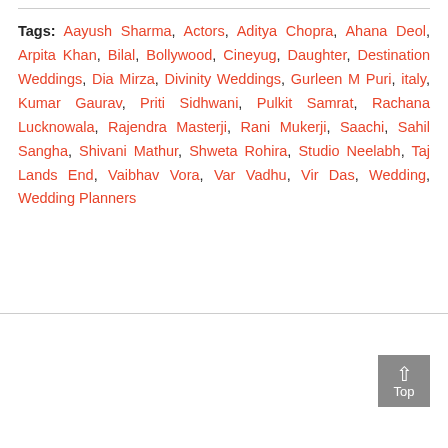Tags: Aayush Sharma, Actors, Aditya Chopra, Ahana Deol, Arpita Khan, Bilal, Bollywood, Cineyug, Daughter, Destination Weddings, Dia Mirza, Divinity Weddings, Gurleen M Puri, italy, Kumar Gaurav, Priti Sidhwani, Pulkit Samrat, Rachana Lucknowala, Rajendra Masterji, Rani Mukerji, Saachi, Sahil Sangha, Shivani Mathur, Shweta Rohira, Studio Neelabh, Taj Lands End, Vaibhav Vora, Var Vadhu, Vir Das, Wedding, Wedding Planners
[Figure (other): WeddingSutra Favorites advertisement banner with watermark text and caption 'A curated collection of wedding']